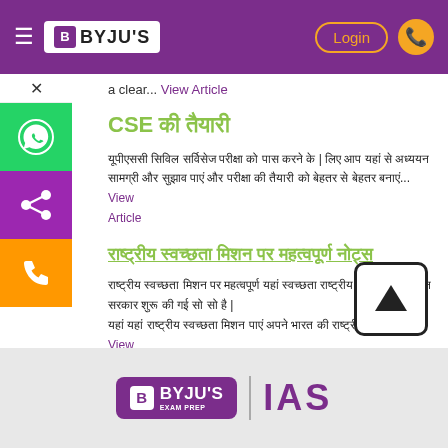BYJU'S — Login
a clear... View Article
CSE का तैयारी
यूपीएससी सिविल सर्विसेज परीक्षा को पास करने के लिए उम्मीदवारों को सबसे पहले पाठ्यक्रम को ध्यान से पढ़ना और समझना होगा। इस लेख को पढ़कर आप परीक्षा की तैयारी... View Article
राष्ट्रीय स्वच्छता मिशन  पर महत्वपूर्ण नोट्स
स्वच्छ भारत मिशन पर महत्वपूर्ण नोट्स  यहां से प्राप्त करें। स्वच्छ भारत अभियान भारतीय सरकार द्वारा शुरू की गई राष्ट्रव्यापी सफाई अभियान है जो कि... View Article
[Figure (logo): BYJU'S IAS Exam Prep logo in footer]